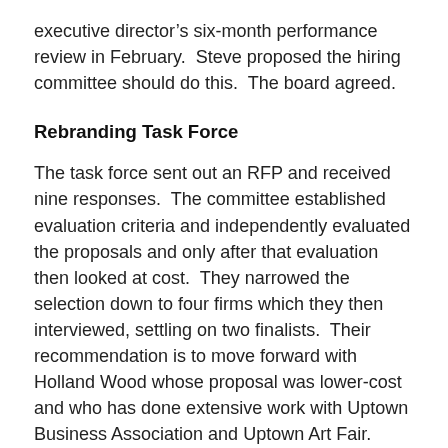executive director's six-month performance review in February.  Steve proposed the hiring committee should do this.  The board agreed.
Rebranding Task Force
The task force sent out an RFP and received nine responses.  The committee established evaluation criteria and independently evaluated the proposals and only after that evaluation then looked at cost.  They narrowed the selection down to four firms which they then interviewed, settling on two finalists.  Their recommendation is to move forward with Holland Wood whose proposal was lower-cost and who has done extensive work with Uptown Business Association and Uptown Art Fair.